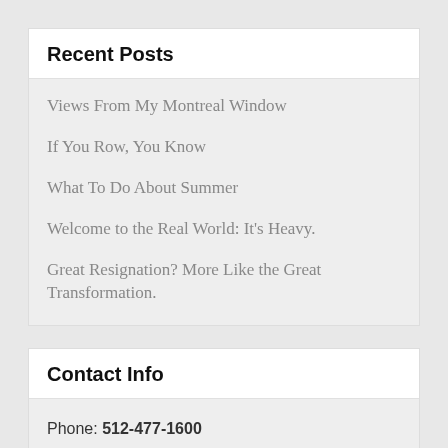Recent Posts
Views From My Montreal Window
If You Row, You Know
What To Do About Summer
Welcome to the Real World: It's Heavy.
Great Resignation? More Like the Great Transformation.
Contact Info
Phone: 512-477-1600
500 West 2nd Street